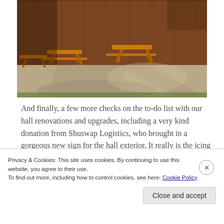[Figure (photo): Outdoor patio area with wooden picnic tables casting shadows on a concrete surface, wooden fence/wall in the background with warm brown tones.]
And finally, a few more checks on the to-do list with our hall renovations and upgrades, including a very kind donation from Shuswap Logistics, who brought in a gorgeous new sign for the hall exterior. It really is the icing on the renovation cake – thank you! A special thanks to
Privacy & Cookies: This site uses cookies. By continuing to use this website, you agree to their use.
To find out more, including how to control cookies, see here: Cookie Policy
Close and accept